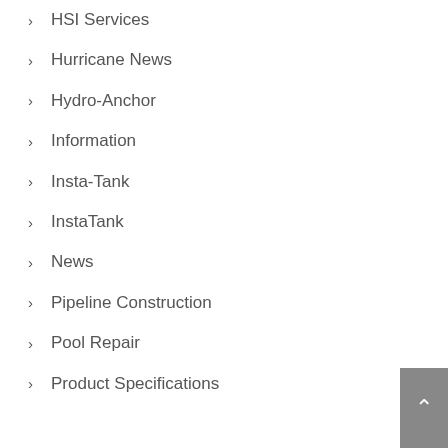HSI Services
Hurricane News
Hydro-Anchor
Information
Insta-Tank
InstaTank
News
Pipeline Construction
Pool Repair
Product Specifications